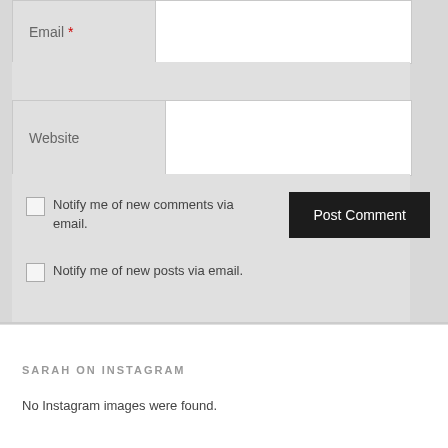[Figure (screenshot): Web comment form showing Email field with red asterisk required marker, Website field, two checkboxes for email notifications, and a Post Comment button]
Email *
Website
Notify me of new comments via email.
Notify me of new posts via email.
Post Comment
SARAH ON INSTAGRAM
No Instagram images were found.